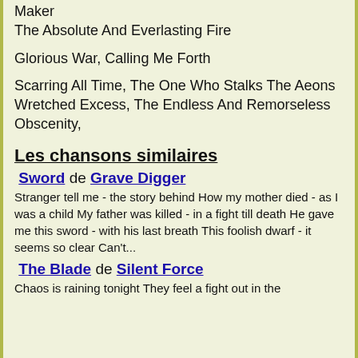Maker
The Absolute And Everlasting Fire
Glorious War, Calling Me Forth
Scarring All Time, The One Who Stalks The Aeons
Wretched Excess, The Endless And Remorseless
Obscenity,
Les chansons similaires
Sword de Grave Digger
Stranger tell me - the story behind How my mother died - as I was a child My father was killed - in a fight till death He gave me this sword - with his last breath This foolish dwarf - it seems so clear Can't...
The Blade de Silent Force
Chaos is raining tonight They feel a fight out in the